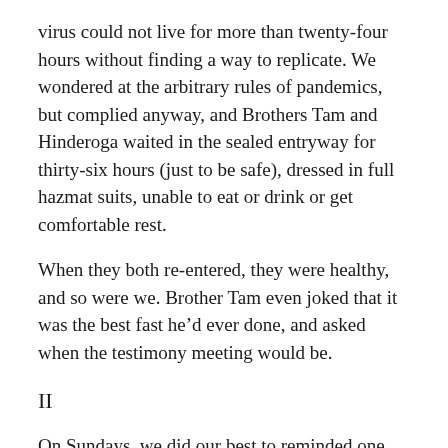virus could not live for more than twenty-four hours without finding a way to replicate. We wondered at the arbitrary rules of pandemics, but complied anyway, and Brothers Tam and Hinderoga waited in the sealed entryway for thirty-six hours (just to be safe), dressed in full hazmat suits, unable to eat or drink or get comfortable rest.
When they both re-entered, they were healthy, and so were we. Brother Tam even joked that it was the best fast he’d ever done, and asked when the testimony meeting would be.
II
On Sundays, we did our best to reminded one another that we weren’t alone. “Fear thou not; for I am with thee,” we read, and “In the world ye shall have tribulation: but be of good cheer; I have overcome the world.” We took comfort in scripture and in the words of the prophets. We